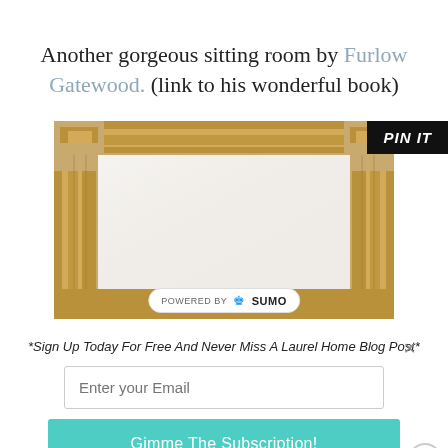Another gorgeous sitting room by Furlow Gatewood. (link to his wonderful book)
[Figure (photo): A decorative wooden mirror frame with stepped molding, golden-brown finish, shown against a white background. A 'PIN IT' button overlay appears in the top right corner. A 'Powered by SUMO' badge appears at the bottom center.]
*Sign Up Today For Free And Never Miss A Laurel Home Blog Post*
Enter your Email
Gimme The Subscription!